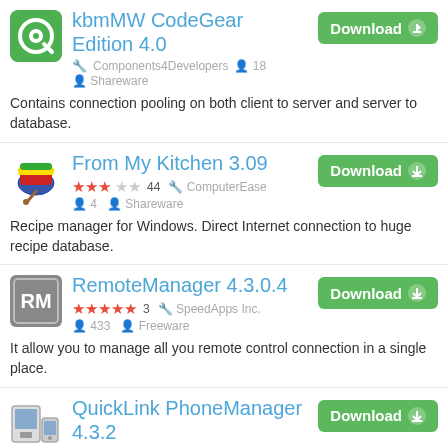kbmMW CodeGear Edition 4.0 — Components4Developers, 18 users, Shareware. Contains connection pooling on both client to server and server to database.
From My Kitchen 3.09 — 3 stars, 44 ratings, ComputerEase, 4 users, Shareware. Recipe manager for Windows. Direct Internet connection to huge recipe database.
RemoteManager 4.3.0.4 — 5 stars, 3 ratings, SpeedApps Inc., 433 users, Freeware. It allow you to manage all you remote control connection in a single place.
QuickLink PhoneManager 4.3.2 — 4 stars, 1 rating. Download.